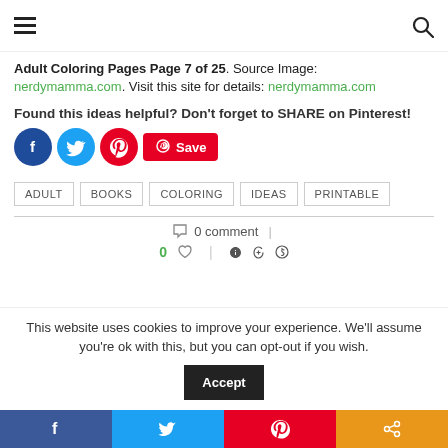Navigation bar with hamburger menu and search icon
Adult Coloring Pages Page 7 of 25. Source Image: nerdymamma.com. Visit this site for details: nerdymamma.com
Found this ideas helpful? Don't forget to SHARE on Pinterest!
[Figure (other): Social share buttons: Facebook (blue circle), Twitter (light blue circle), Pinterest (red circle), Save button (red rounded rectangle with Pinterest icon)]
ADULT
BOOKS
COLORING
IDEAS
PRINTABLE
0 comment
0
This website uses cookies to improve your experience. We'll assume you're ok with this, but you can opt-out if you wish.
Bottom share bar: Facebook, Twitter, Pinterest, Share